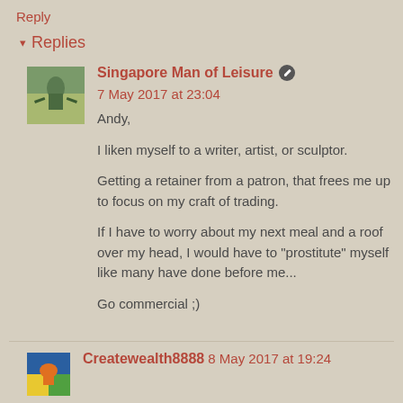Reply
▾ Replies
Singapore Man of Leisure 🖊 7 May 2017 at 23:04

Andy,

I liken myself to a writer, artist, or sculptor.

Getting a retainer from a patron, that frees me up to focus on my craft of trading.

If I have to worry about my next meal and a roof over my head, I would have to "prostitute" myself like many have done before me...

Go commercial ;)
Createwealth8888 8 May 2017 at 19:24